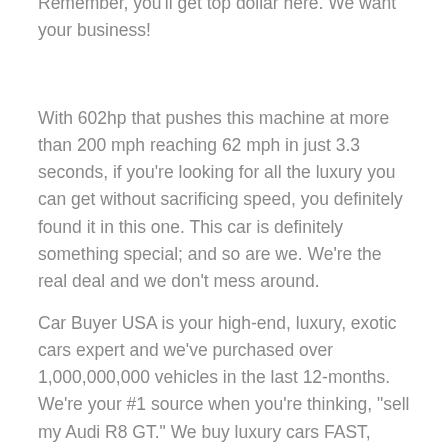Remember, you'll get top dollar here. We want your business!
With 602hp that pushes this machine at more than 200 mph reaching 62 mph in just 3.3 seconds, if you're looking for all the luxury you can get without sacrificing speed, you definitely found it in this one. This car is definitely something special; and so are we. We're the real deal and we don't mess around.
Car Buyer USA is your high-end, luxury, exotic cars expert and we've purchased over 1,000,000,000 vehicles in the last 12-months. We're your #1 source when you're thinking, "sell my Audi R8 GT." We buy luxury cars FAST, SAFE, and EASY every day in every